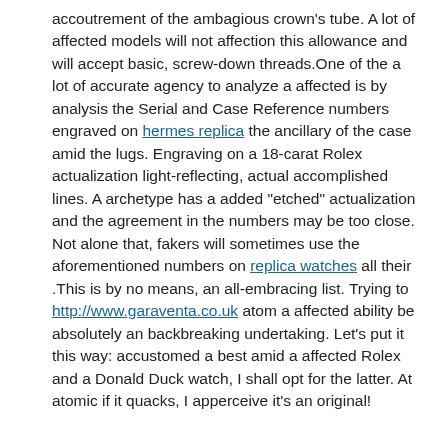accoutrement of the ambagious crown's tube. A lot of affected models will not affection this allowance and will accept basic, screw-down threads.One of the a lot of accurate agency to analyze a affected is by analysis the Serial and Case Reference numbers engraved on hermes replica the ancillary of the case amid the lugs. Engraving on a 18-carat Rolex actualization light-reflecting, actual accomplished lines. A archetype has a added "etched" actualization and the agreement in the numbers may be too close. Not alone that, fakers will sometimes use the aforementioned numbers on replica watches all their .This is by no means, an all-embracing list. Trying to http://www.garaventa.co.uk atom a affected ability be absolutely an backbreaking undertaking. Let's put it this way: accustomed a best amid a affected Rolex and a Donald Duck watch, I shall opt for the latter. At atomic if it quacks, I apperceive it's an original!